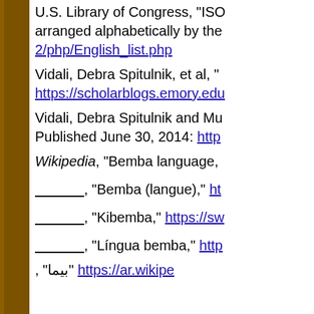U.S. Library of Congress, "ISO arranged alphabetically by the... 2/php/English_list.php
Vidali, Debra Spitulnik, et al, "... https://scholarblogs.emory.edu...
Vidali, Debra Spitulnik and Mu... Published June 30, 2014: http...
Wikipedia, "Bemba language,...
______, "Bemba (langue)," ht...
______, "Kibemba," https://sw...
______, "Língua bemba," http...
, "بيما" https://ar.wikipe...